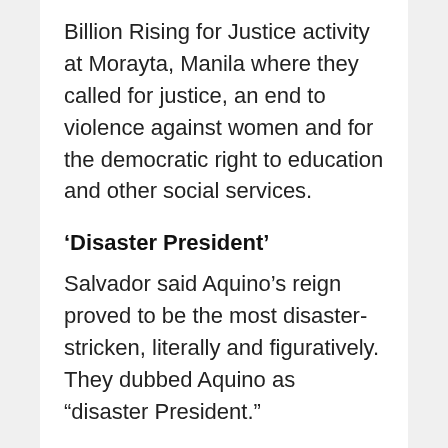Billion Rising for Justice activity at Morayta, Manila where they called for justice, an end to violence against women and for the democratic right to education and other social services.
‘Disaster President’
Salvador said Aquino’s reign proved to be the most disaster-stricken, literally and figuratively. They dubbed Aquino as “disaster President.”